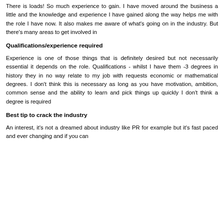There is loads! So much experience to gain. I have moved around the business a little and the knowledge and experience I have gained along the way helps me with the role I have now. It also makes me aware of what's going on in the industry. But there's many areas to get involved in
Qualifications/experience required
Experience is one of those things that is definitely desired but not necessarily essential it depends on the role. Qualifications - whilst I have them -3 degrees in history they in no way relate to my job with requests economic or mathematical degrees. I don't think this is necessary as long as you have motivation, ambition, common sense and the ability to learn and pick things up quickly I don't think a degree is required
Best tip to crack the industry
An interest, it's not a dreamed about industry like PR for example but it's fast paced and ever changing and if you can